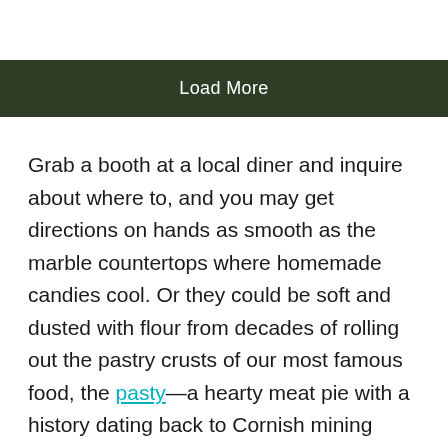Load More
Grab a booth at a local diner and inquire about where to, and you may get directions on hands as smooth as the marble countertops where homemade candies cool. Or they could be soft and dusted with flour from decades of rolling out the pastry crusts of our most famous food, the pasty—a hearty meat pie with a history dating back to Cornish mining families.